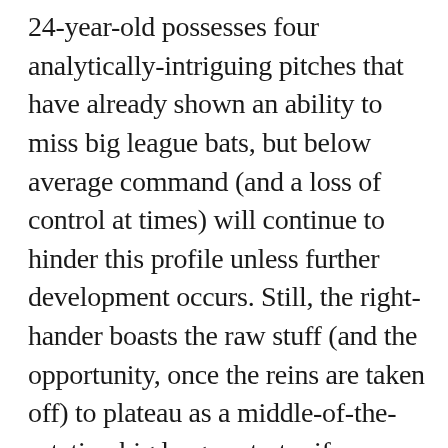24-year-old possesses four analytically-intriguing pitches that have already shown an ability to miss big league bats, but below average command (and a loss of control at times) will continue to hinder this profile unless further development occurs. Still, the right-hander boasts the raw stuff (and the opportunity, once the reins are taken off) to plateau as a middle-of-the-rotation big league starter if everything breaks right. He'll be a tremendous, late-round flier in Best Ball and Draft Championship leagues this winter.